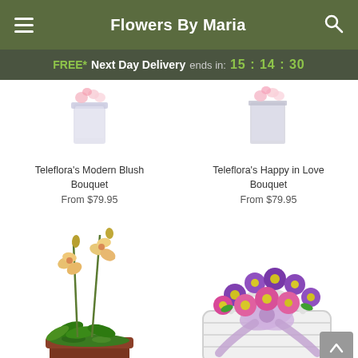Flowers By Maria
FREE* Next Day Delivery ends in: 15:14:30
[Figure (photo): Partial view of Teleflora's Modern Blush Bouquet - glass vase with flowers, cropped at top]
Teleflora's Modern Blush Bouquet
From $79.95
[Figure (photo): Partial view of Teleflora's Happy in Love Bouquet - square glass vase with flowers, cropped at top]
Teleflora's Happy in Love Bouquet
From $79.95
[Figure (photo): Phalaenopsis orchid plant in decorative red/brown pot with green moss, two stems with pink/yellow blooms]
[Figure (photo): Basket arrangement of pink and purple daisy-like flowers with lavender ribbon bow in white wicker basket]